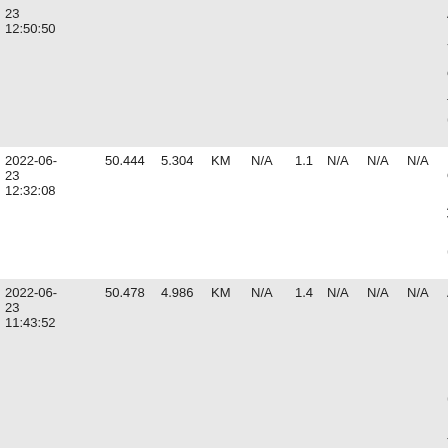| Date | Lat | Lon | Unit | N/A | Val | N/A | N/A | N/A | Location |
| --- | --- | --- | --- | --- | --- | --- | --- | --- | --- |
| 2022-06-23 12:50:50 |  |  |  |  |  |  |  |  | AU-PONT (… |
| 2022-06-23 12:32:08 | 50.444 | 5.304 | KM | N/A | 1.1 | N/A | N/A | N/A | MODAVE (… |
| 2022-06-23 11:43:52 | 50.478 | 4.986 | KM | N/A | 1.4 | N/A | N/A | N/A | ANDENNE (BE) |
| 2022-06-23 10:32:58 | 50.059 | 4.643 | KM | N/A | 1.3 | N/A | N/A | N/A | VIROINVAL (BE) |
| 2022-06-22 12:04:05 | 50.591 | 4.098 | KM | N/A | 1.3 | N/A | N/A | N/A | BRAINE-LE-COMTE (BE) |
| 2022-06-21 11:00:59 | 50.601 | 4.137 | KM | N/A | 0.9 | N/A | N/A | N/A | BRAINE-LE-COMTE (BE) |
| 2022-06-21 11:00:34 | 50.667 | 4.116 | KM | N/A | 1.0 | N/A | N/A | N/A | REBECQ (B… |
| 2022-06-…  | 50.649 | 2.486 | KM | N/A | 1.8 | N/A | N/A | N/A | TOURNA… |